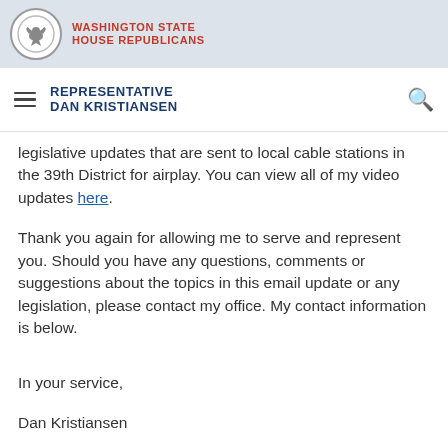WASHINGTON STATE HOUSE REPUBLICANS
REPRESENTATIVE DAN KRISTIANSEN
legislative updates that are sent to local cable stations in the 39th District for airplay. You can view all of my video updates here.
Thank you again for allowing me to serve and represent you. Should you have any questions, comments or suggestions about the topics in this email update or any legislation, please contact my office. My contact information is below.
In your service,
Dan Kristiansen